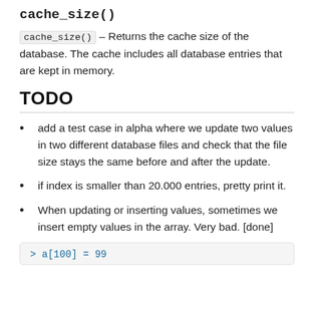cache_size()
cache_size() – Returns the cache size of the database. The cache includes all database entries that are kept in memory.
TODO
add a test case in alpha where we update two values in two different database files and check that the file size stays the same before and after the update.
if index is smaller than 20.000 entries, pretty print it.
When updating or inserting values, sometimes we insert empty values in the array. Very bad. [done]
> a[100] = 99